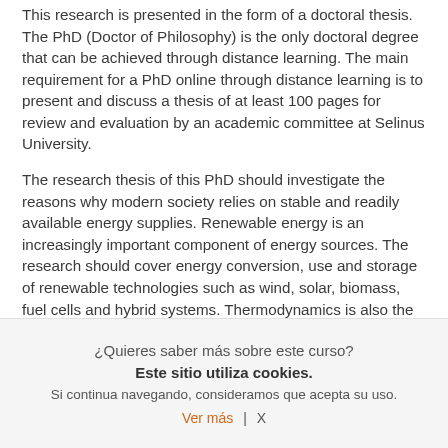This research is presented in the form of a doctoral thesis. The PhD (Doctor of Philosophy) is the only doctoral degree that can be achieved through distance learning. The main requirement for a PhD online through distance learning is to present and discuss a thesis of at least 100 pages for review and evaluation by an academic committee at Selinus University.
The research thesis of this PhD should investigate the reasons why modern society relies on stable and readily available energy supplies. Renewable energy is an increasingly important component of energy sources. The research should cover energy conversion, use and storage of renewable technologies such as wind, solar, biomass, fuel cells and hybrid systems. Thermodynamics is also the basis for the modelling of renewable energy systems. The candidate, in this research thesis, should also investigate the environmental consequences of energy conversion and how…
¿Quieres saber más sobre este curso?
Este sitio utiliza cookies.
Si continua navegando, consideramos que acepta su uso.
Ver más | X